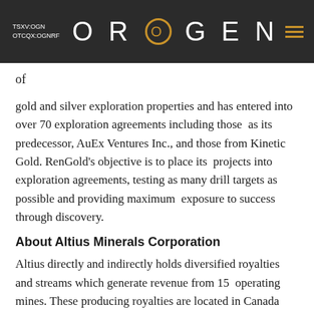TSXV:OGN OTCQX:OGNRF   OROGEN
of
gold and silver exploration properties and has entered into over 70 exploration agreements including those  as its predecessor, AuEx Ventures Inc., and those from Kinetic Gold. RenGold's objective is to place its  projects into exploration agreements, testing as many drill targets as possible and providing maximum  exposure to success through discovery.
About Altius Minerals Corporation
Altius directly and indirectly holds diversified royalties and streams which generate revenue from 15  operating mines. These producing royalties are located in Canada and Brazil and provide exposure to  copper, zinc, nickel, cobalt, iron ore, potash, thermal (electrical) and metallurgical coal. The portfolio also  includes development stage royalties in copper and